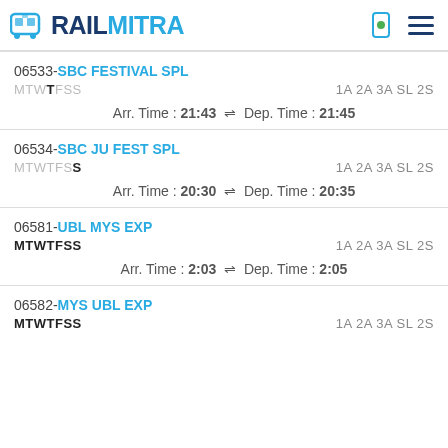RAILMITRA
06533-SBC FESTIVAL SPL | MTWTFSS | 1A 2A 3A SL 2S | Arr. Time : 21:43 ⇌ Dep. Time : 21:45
06534-SBC JU FEST SPL | MTWTFSS | 1A 2A 3A SL 2S | Arr. Time : 20:30 ⇌ Dep. Time : 20:35
06581-UBL MYS EXP | MTWTFSS | 1A 2A 3A SL 2S | Arr. Time : 2:03 ⇌ Dep. Time : 2:05
06582-MYS UBL EXP | MTWTFSS | 1A 2A 3A SL 2S